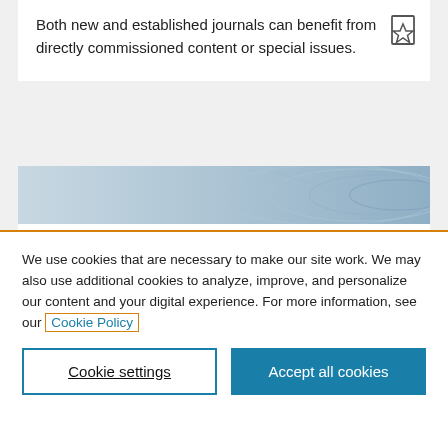Both new and established journals can benefit from directly commissioned content or special issues.
[Figure (screenshot): Genetics in Medicine journal banner with DNA helix background image and journal logo showing 'Genetics in Medicine' text in teal/dark blue serif font]
We use cookies that are necessary to make our site work. We may also use additional cookies to analyze, improve, and personalize our content and your digital experience. For more information, see our Cookie Policy
Cookie settings
Accept all cookies